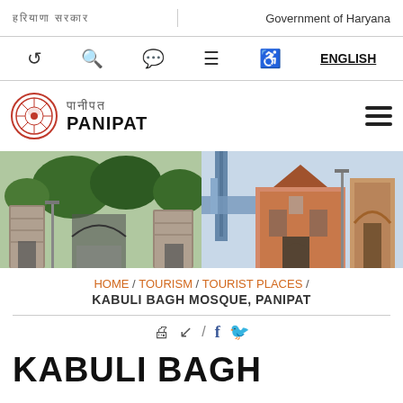हरियाणा सरकार / Government of Haryana
[Figure (screenshot): Government of Haryana Panipat district website navigation bar with icons: back, search, accessibility, sitemap, disability, and ENGLISH language toggle]
[Figure (logo): Haryana government emblem (Ashoka chakra seal in red) with Hindi text and PANIPAT district name]
[Figure (photo): Hero banner showing three images: stone gate entrance with trees, ornamental gate, and a building with tower and arched entrance]
HOME / TOURISM / TOURIST PLACES / KABULI BAGH MOSQUE, PANIPAT
[Figure (infographic): Share/print bar with print icon, share icon, slash, Facebook icon, and Twitter bird icon]
KABULI BAGH